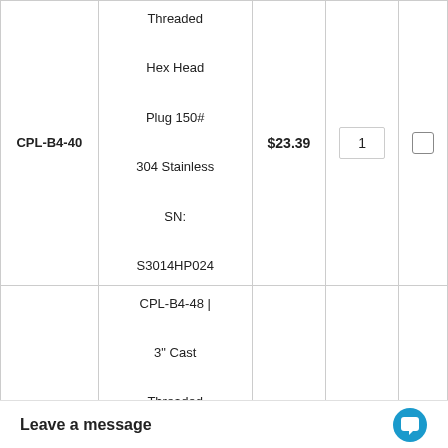| SKU | Description | Price | Qty | Select |
| --- | --- | --- | --- | --- |
| CPL-B4-40 | Threaded Hex Head Plug 150# 304 Stainless SN: S3014HP024 | $23.39 | 1 |  |
| CPL-B4-48 | CPL-B4-48 | 3" Cast Threaded Hex Head Plug 150# 304 Stainless SN: S3014HPC | $32.06 | 1 |  |
| CPL-B4-... |  |  |  |  |
Leave a message